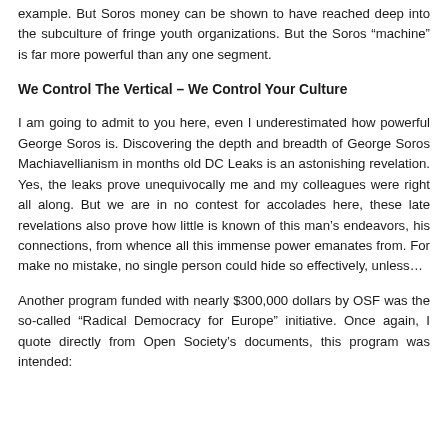example. But Soros money can be shown to have reached deep into the subculture of fringe youth organizations. But the Soros “machine” is far more powerful than any one segment.
We Control The Vertical – We Control Your Culture
I am going to admit to you here, even I underestimated how powerful George Soros is. Discovering the depth and breadth of George Soros Machiavellianism in months old DC Leaks is an astonishing revelation. Yes, the leaks prove unequivocally me and my colleagues were right all along. But we are in no contest for accolades here, these late revelations also prove how little is known of this man’s endeavors, his connections, from whence all this immense power emanates from. For make no mistake, no single person could hide so effectively, unless…
Another program funded with nearly $300,000 dollars by OSF was the so-called “Radical Democracy for Europe” initiative. Once again, I quote directly from Open Society’s documents, this program was intended: